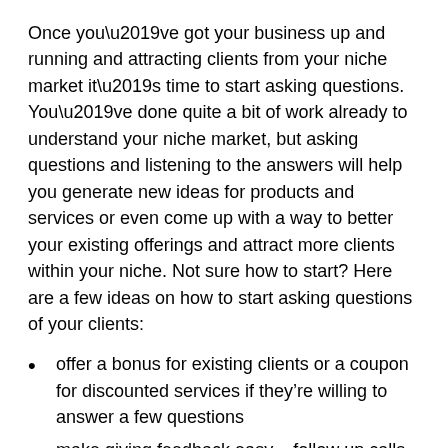Once you’ve got your business up and running and attracting clients from your niche market it’s time to start asking questions. You’ve done quite a bit of work already to understand your niche market, but asking questions and listening to the answers will help you generate new ideas for products and services or even come up with a way to better your existing offerings and attract more clients within your niche. Not sure how to start? Here are a few ideas on how to start asking questions of your clients:
offer a bonus for existing clients or a coupon for discounted services if they’re willing to answer a few questions
make giving feedback easy – follow up calls after a job, an email with a link to a survey, a website link at the bottom of your invoice where they can go